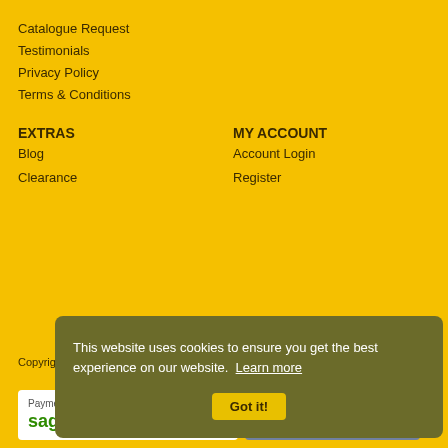Catalogue Request
Testimonials
Privacy Policy
Terms & Conditions
EXTRAS
MY ACCOUNT
Blog
Clearance
Account Login
Register
Copyright © Tilgear
[Figure (logo): Sage Pay logo with green 'sage' and grey 'Pay' text, 'Payments by' label above]
[Figure (infographic): Payment card icons: Maestro, MasterCard, and VISA]
This website uses cookies to ensure you get the best experience on our website. Learn more
Got it!